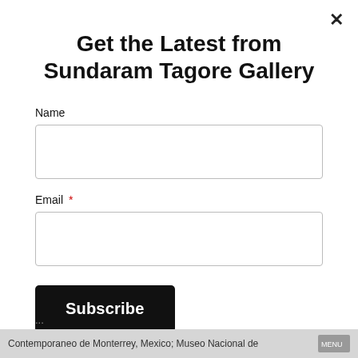Get the Latest from Sundaram Tagore Gallery
Name
Email *
Subscribe
Contemporaneo de Monterrey, Mexico; Museo Nacional de